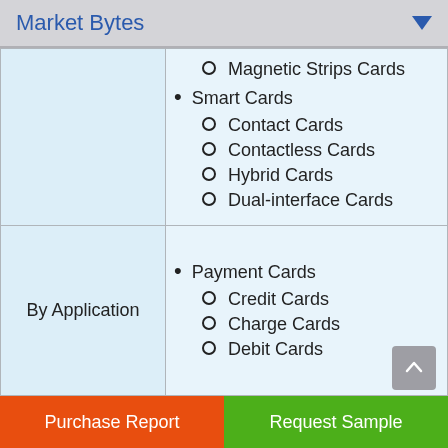Market Bytes
| Category | Items |
| --- | --- |
|  | Magnetic Strips Cards; Smart Cards; Contact Cards; Contactless Cards; Hybrid Cards; Dual-interface Cards |
| By Application | Payment Cards; Credit Cards; Charge Cards; Debit Cards |
Purchase Report | Request Sample